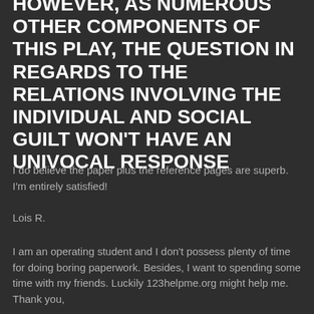HOWEVER, AS NUMEROUS OTHER COMPONENTS OF THIS PLAY, THE QUESTION IN REGARDS TO THE RELATIONS INVOLVING THE INDIVIDUAL AND SOCIAL GUILT WON'T HAVE AN UNIVOCAL RESPONSE
I do believe the paper plus the reference pages are superb. I'm entirely satisfied!
Lois R.
I am an operating student and I don't possess plenty of time for doing boring paperwork. Besides, I want to spending some time with my friends. Luckily 123helpme.org might help me. Thank you,